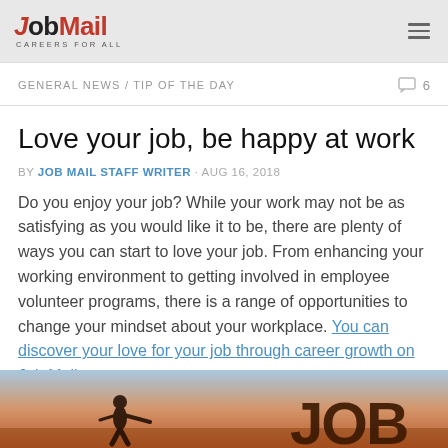JobMail CAREERS FOR ALL
GENERAL NEWS / TIP OF THE DAY   6
Love your job, be happy at work
BY JOB MAIL STAFF WRITER · AUG 16, 2018
Do you enjoy your job? While your work may not be as satisfying as you would like it to be, there are plenty of ways you can start to love your job. From enhancing your working environment to getting involved in employee volunteer programs, there is a range of opportunities to change your mindset about your workplace. You can discover your love for your job through career growth on Job Mail.
[Figure (photo): Photo of a person in business attire at sunset with large 3D letters spelling JOB in the background]